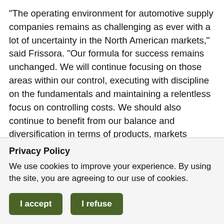"The operating environment for automotive supply companies remains as challenging as ever with a lot of uncertainty in the North American markets," said Frissora. "Our formula for success remains unchanged. We will continue focusing on those areas within our control, executing with discipline on the fundamentals and maintaining a relentless focus on controlling costs. We should also continue to benefit from our balance and diversification in terms of products, markets served and our customer base as well as from a strong new product and technology pipeline designed to help Tenneco win incremental OE and aftermarket business."
Privacy Policy
We use cookies to improve your experience. By using the site, you are agreeing to our use of cookies.